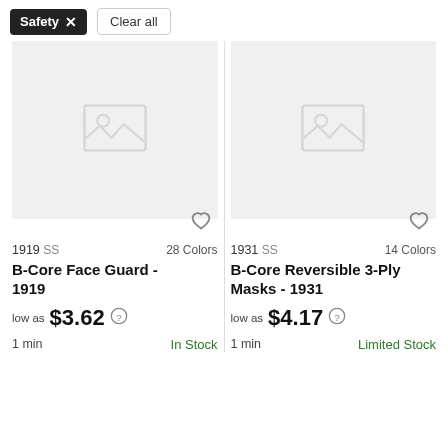Safety × Clear all
[Figure (screenshot): Product listing for B-Core Face Guard - 1919 with placeholder image, heart icon, 1919 SS, 28 Colors, low as $3.62, 1 min, In Stock]
1919 SS   28 Colors
B-Core Face Guard - 1919
low as $3.62
1 min   In Stock
[Figure (screenshot): Product listing for B-Core Reversible 3-Ply Masks - 1931 with placeholder image, heart icon, 1931 SS, 14 Colors, low as $4.17, 1 min, Limited Stock]
1931 SS   14 Colors
B-Core Reversible 3-Ply Masks - 1931
low as $4.17
1 min   Limited Stock